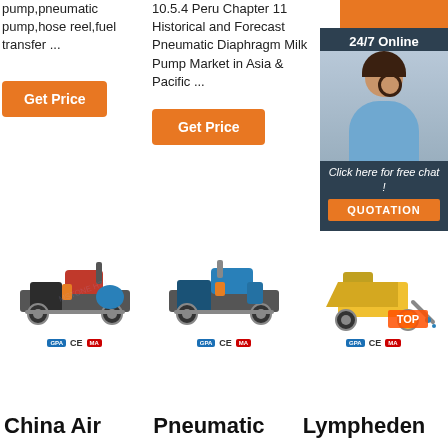pump,pneumatic pump,hose reel,fuel transfer ...
[Figure (other): Orange 'Get Price' button]
10.5.4 Peru Chapter 11 Historical and Forecast Pneumatic Diaphragm Milk Pump Market in Asia & Pacific ...
[Figure (other): Orange top bar and 24/7 Online chat widget with female operator photo, 'Click here for free chat!' text, and QUOTATION button]
[Figure (other): Orange 'Get Price' button (column 2)]
[Figure (photo): Product image of a red/black diesel engine pump machine with brand logos and CE mark]
[Figure (photo): Product image of a blue diesel engine pump machine with brand logos and CE mark]
[Figure (photo): Product image of a yellow construction machine with brand logos and CE mark, with TOP badge]
China Air
Pneumatic
Lympheden